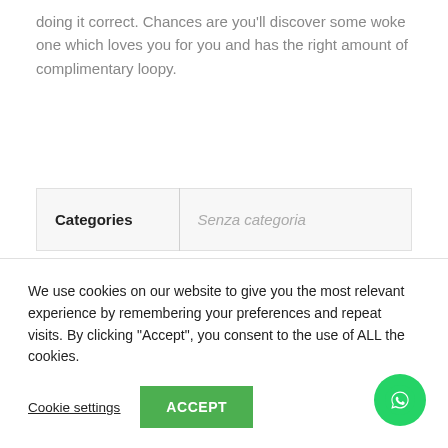doing it correct. Chances are you'll discover some woke one which loves you for you and has the right amount of complimentary loopy.
| Categories | Senza categoria |
We use cookies on our website to give you the most relevant experience by remembering your preferences and repeat visits. By clicking "Accept", you consent to the use of ALL the cookies.
Cookie settings   ACCEPT